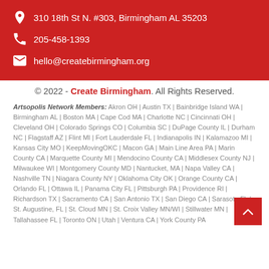310 18th St N. #303, Birmingham AL 35203
205-458-1393
hello@createbirmingham.org
© 2022 - Create Birmingham. All Rights Reserved.
Artsopolis Network Members: Akron OH | Austin TX | Bainbridge Island WA | Birmingham AL | Boston MA | Cape Cod MA | Charlotte NC | Cincinnati OH | Cleveland OH | Colorado Springs CO | Columbia SC | DuPage County IL | Durham NC | Flagstaff AZ | Flint MI | Fort Lauderdale FL | Indianapolis IN | Kalamazoo MI | Kansas City MO | KeepMovingOKC | Macon GA | Main Line Area PA | Marin County CA | Marquette County MI | Mendocino County CA | Middlesex County NJ | Milwaukee WI | Montgomery County MD | Nantucket, MA | Napa Valley CA | Nashville TN | Niagara County NY | Oklahoma City OK | Orange County CA | Orlando FL | Ottawa IL | Panama City FL | Pittsburgh PA | Providence RI | Richardson TX | Sacramento CA | San Antonio TX | San Diego CA | Sarasota FL | St. Augustine, FL | St. Cloud MN | St. Croix Valley MN/WI | Stillwater MN | Tallahassee FL | Toronto ON | Utah | Ventura CA | York County PA